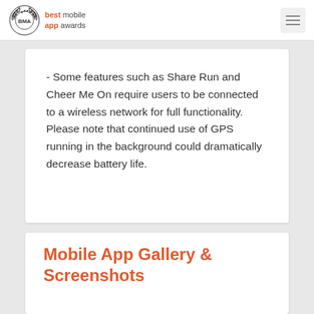best mobile app awards
- Some features such as Share Run and Cheer Me On require users to be connected to a wireless network for full functionality. Please note that continued use of GPS running in the background could dramatically decrease battery life.
Mobile App Gallery & Screenshots
[Figure (screenshot): Three loading placeholder thumbnails for mobile app gallery screenshots]